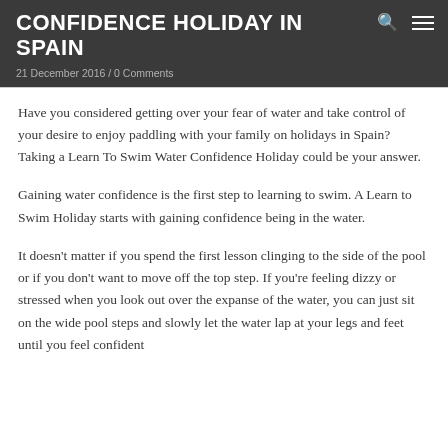CONFIDENCE HOLIDAY IN SPAIN
21 December 2016 / 0 Comments
Have you considered getting over your fear of water and take control of your desire to enjoy paddling with your family on holidays in Spain? Taking a Learn To Swim Water Confidence Holiday could be your answer.
Gaining water confidence is the first step to learning to swim. A Learn to Swim Holiday starts with gaining confidence being in the water.
It doesn't matter if you spend the first lesson clinging to the side of the pool or if you don't want to move off the top step. If you're feeling dizzy or stressed when you look out over the expanse of the water, you can just sit on the wide pool steps and slowly let the water lap at your legs and feet until you feel confident